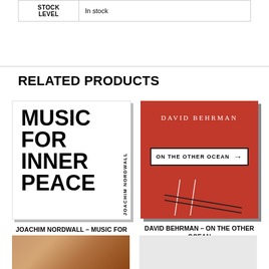| STOCK LEVEL |  |
| --- | --- |
| STOCK LEVEL | In stock |
RELATED PRODUCTS
[Figure (illustration): Album cover: MUSIC FOR INNER PEACE by JOACHIM NORDWALL — white background with large bold black text and vertical sidebar text]
JOACHIM NORDWALL – MUSIC FOR INNER PEACE AND OUTER DISTURBANCE
$14.00 | CD
[Figure (illustration): Album cover: DAVID BEHRMAN - ON THE OTHER OCEAN — red/orange background with white artist name, a road sign reading ON THE OTHER OCEAN with arrow, and diagonal lines at bottom]
DAVID BEHRMAN – ON THE OTHER OCEAN
$13.00 | CD